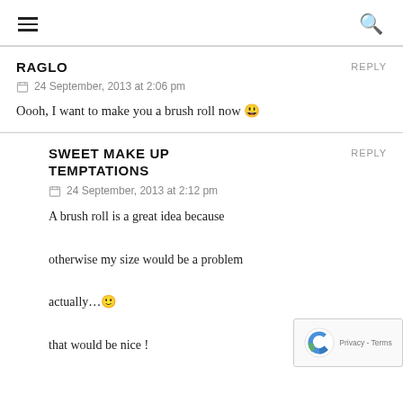RAGLO
REPLY
24 September, 2013 at 2:06 pm
Oooh, I want to make you a brush roll now 😁
SWEET MAKE UP TEMPTATIONS
REPLY
24 September, 2013 at 2:12 pm
A brush roll is a great idea because otherwise my size would be a problem actually…🙂 that would be nice !